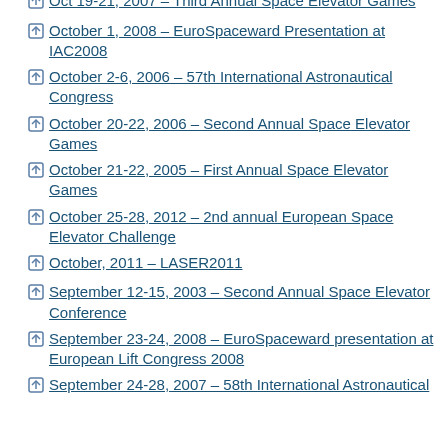Climber/Power-Beaming event
Oct 19-21, 2007 – Third Annual Space Elevator Games
October 1, 2008 – EuroSpaceward Presentation at IAC2008
October 2-6, 2006 – 57th International Astronautical Congress
October 20-22, 2006 – Second Annual Space Elevator Games
October 21-22, 2005 – First Annual Space Elevator Games
October 25-28, 2012 – 2nd annual European Space Elevator Challenge
October, 2011 – LASER2011
September 12-15, 2003 – Second Annual Space Elevator Conference
September 23-24, 2008 – EuroSpaceward presentation at European Lift Congress 2008
September 24-28, 2007 – 58th International Astronautical